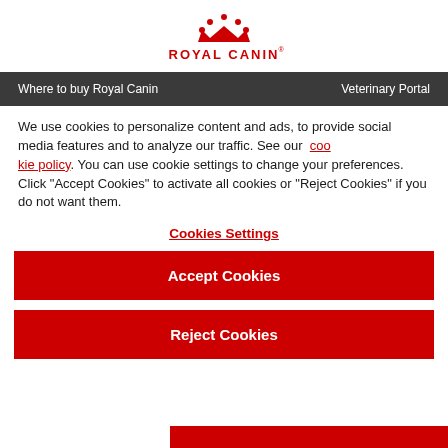[Figure (logo): Royal Canin logo with crown icon above text ROYAL CANIN in red]
Where to buy Royal Canin    Veterinary Portal
We use cookies to personalize content and ads, to provide social media features and to analyze our traffic. See our cookie policy. You can use cookie settings to change your preferences. Click “Accept Cookies” to activate all cookies or “Reject Cookies” if you do not want them.
Cookies Settings
Accept Cookies
Reject Cookies